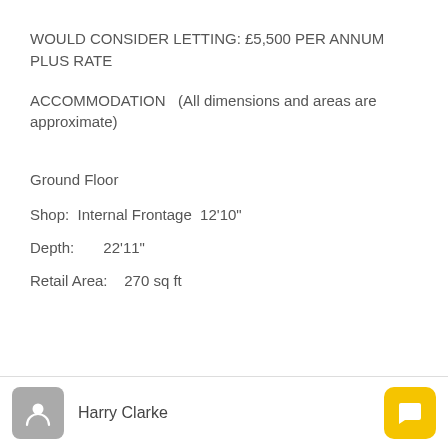WOULD CONSIDER LETTING: £5,500 PER ANNUM PLUS RATE
ACCOMMODATION   (All dimensions and areas are approximate)
Ground Floor
Shop:  Internal Frontage  12'10"
Depth:       22'11"
Retail Area:    270 sq ft
Harry Clarke